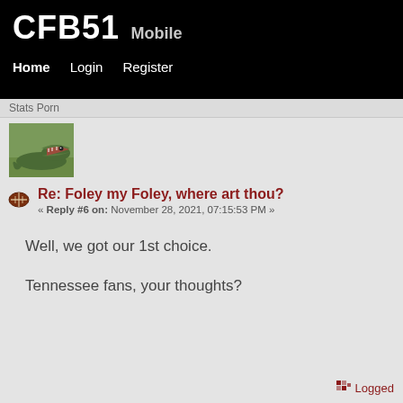CFB51 Mobile
Home   Login   Register
Stats Porn
[Figure (photo): Photo of an alligator with mouth open on grass]
Re: Foley my Foley, where art thou?
« Reply #6 on: November 28, 2021, 07:15:53 PM »
Well, we got our 1st choice.

Tennessee fans, your thoughts?
Logged